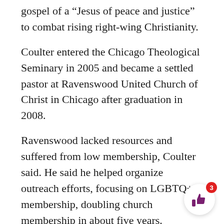gospel of a “Jesus of peace and justice” to combat rising right-wing Christianity.
Coulter entered the Chicago Theological Seminary in 2005 and became a settled pastor at Ravenswood United Church of Christ in Chicago after graduation in 2008.
Ravenswood lacked resources and suffered from low membership, Coulter said. He said he helped organize outreach efforts, focusing on LGBTQ+ membership, doubling church membership in about five years.
Coulter has also helped lead social justice organizations that hope to address racism, poverty and workplace injustice. He said one of the reasons he joined the First Congregational Church was Evanston’s tradition of social justice work, including its reparations program.
Coulter said he believes his faith requires him to take a